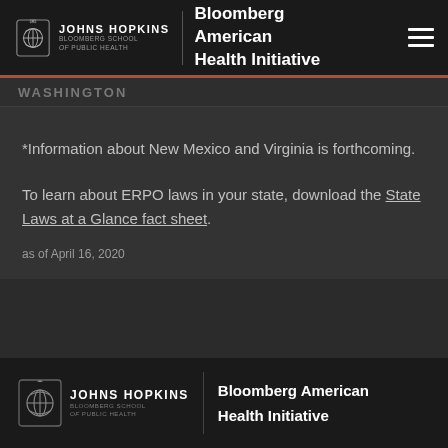Johns Hopkins Bloomberg School of Public Health | Bloomberg American Health Initiative
WASHINGTON
*Information about New Mexico and Virginia is forthcoming.
To learn about ERPO laws in your state, download the State Laws at a Glance fact sheet.
as of April 16, 2020
Johns Hopkins Bloomberg School of Public Health | Bloomberg American Health Initiative